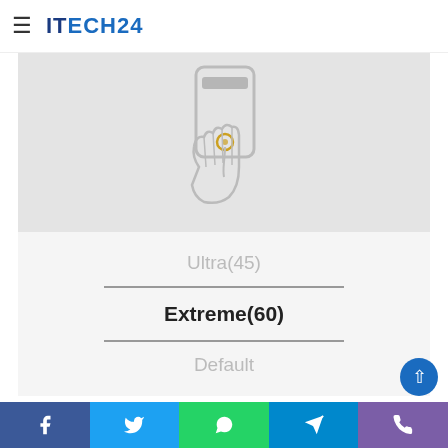ITECH24
there/need/to/limit your settings to avoid to croppu gameplay
[Figure (illustration): A hand holding a smartphone, pressing the home/fingerprint button. Drawn in light gray line-art style on a light gray background panel.]
Ultra(45)
Extreme(60)
Default
Facebook | Twitter | WhatsApp | Telegram | Phone